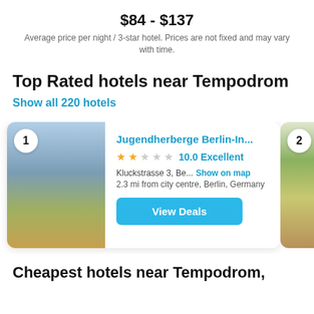$84 - $137
Average price per night / 3-star hotel. Prices are not fixed and may vary with time.
Top Rated hotels near Tempodrom
Show all 220 hotels
[Figure (photo): Hotel card for Jugendherberge Berlin-In... showing building exterior photo with autumn leaves, badge number 1]
Jugendherberge Berlin-In...
★★☆☆☆ 10.0 Excellent
Kluckstrasse 3, Be... Show on map
2.3 mi from city centre, Berlin, Germany
View Deals
[Figure (photo): Partially visible hotel card number 2 showing a room with green walls and a bed]
Cheapest hotels near Tempodrom,